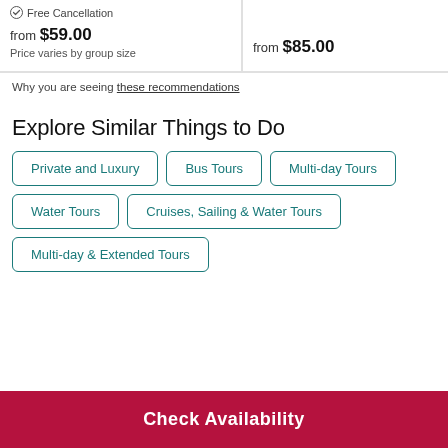✓ Free Cancellation
from $59.00
Price varies by group size
from $85.00
Why you are seeing these recommendations
Explore Similar Things to Do
Private and Luxury
Bus Tours
Multi-day Tours
Water Tours
Cruises, Sailing & Water Tours
Multi-day & Extended Tours
Check Availability